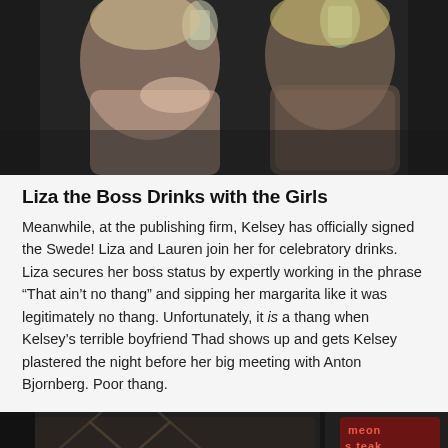[Figure (photo): Dark photo of women at a bar holding drinks, clinking glasses]
Liza the Boss Drinks with the Girls
Meanwhile, at the publishing firm, Kelsey has officially signed the Swede! Liza and Lauren join her for celebratory drinks. Liza secures her boss status by expertly working in the phrase “That ain’t no thang” and sipping her margarita like it was legitimately no thang. Unfortunately, it is a thang when Kelsey’s terrible boyfriend Thad shows up and gets Kelsey plastered the night before her big meeting with Anton Bjornberg. Poor thang.
[Figure (photo): Dark interior bar scene with patterned wallpaper and a neon sign visible]